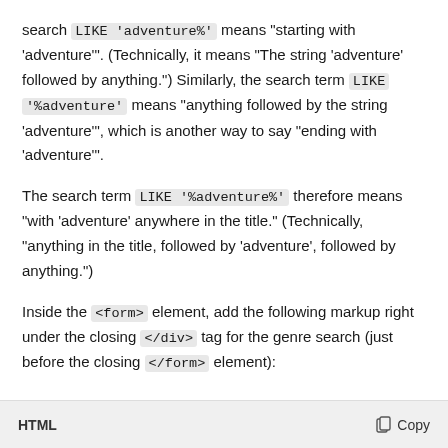search LIKE 'adventure%' means "starting with 'adventure'". (Technically, it means "The string 'adventure' followed by anything.") Similarly, the search term LIKE '%adventure' means "anything followed by the string 'adventure'", which is another way to say "ending with 'adventure'".
The search term LIKE '%adventure%' therefore means "with 'adventure' anywhere in the title." (Technically, "anything in the title, followed by 'adventure', followed by anything.")
Inside the <form> element, add the following markup right under the closing </div> tag for the genre search (just before the closing </form> element):
HTML